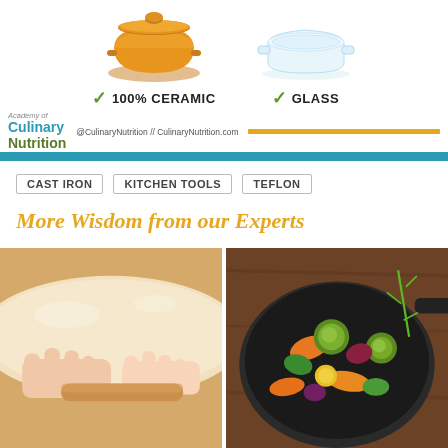[Figure (photo): Orange ceramic dutch oven / casserole pot with lid, with green checkmark and label '100% CERAMIC' below]
[Figure (photo): Clear glass baking dish / casserole, with green checkmark and label 'GLASS' below]
[Figure (logo): Academy of Culinary Nutrition logo with @CulinaryNutrition // CulinaryNutrition.com handle and a gold horizontal bar]
CAST IRON
KITCHEN TOOLS
TEFLON
More Wisdom from our Experts
[Figure (photo): Hands pressing and rolling dough on a wooden surface with a rolling pin]
[Figure (photo): Cast iron skillet with colorful roasted vegetables including carrots, brussels sprouts, peppers and herbs on a wooden table]